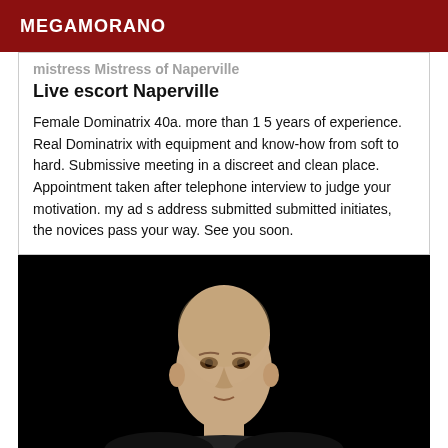MEGAMORANO
mistress Mistress of Naperville
Live escort Naperville
Female Dominatrix 40a. more than 1 5 years of experience. Real Dominatrix with equipment and know-how from soft to hard. Submissive meeting in a discreet and clean place. Appointment taken after telephone interview to judge your motivation. my ad s address submitted submitted initiates, the novices pass your way. See you soon.
[Figure (photo): Person with shaved head against black background, photographed from the shoulders up, looking slightly upward and to the side.]